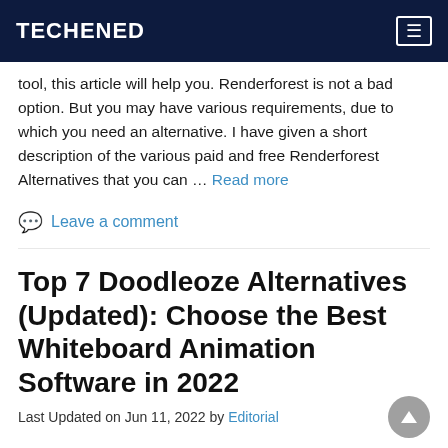TECHENED
tool, this article will help you. Renderforest is not a bad option. But you may have various requirements, due to which you need an alternative. I have given a short description of the various paid and free Renderforest Alternatives that you can … Read more
Leave a comment
Top 7 Doodleoze Alternatives (Updated): Choose the Best Whiteboard Animation Software in 2022
Last Updated on Jun 11, 2022 by Editorial